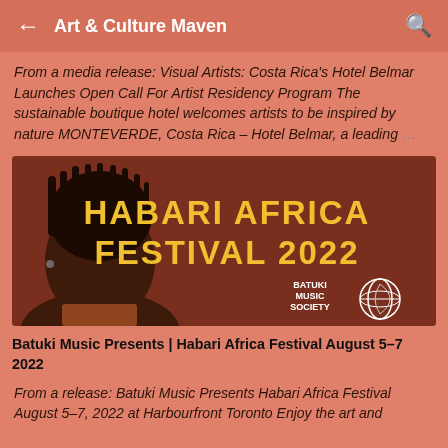Art & Culture Maven
From a media release: Visual Artists: Costa Rica's Hotel Belmar Launches Open Call For Artist Residency Program The sustainable boutique hotel welcomes artists to be inspired by nature MONTEVERDE, Costa Rica – Hotel Belmar, a leading …
[Figure (illustration): Promotional banner for Habari Africa Festival 2022 by Batuki Music Society. Features a woman with braided hair on a brown/terracotta background with large yellow text reading 'HABARI AFRICA FESTIVAL 2022' and the Batuki Music Society logo.]
Batuki Music Presents | Habari Africa Festival August 5–7 2022
From a release:  Batuki Music Presents Habari Africa Festival August 5–7, 2022  at Harbourfront Toronto  Enjoy the art and